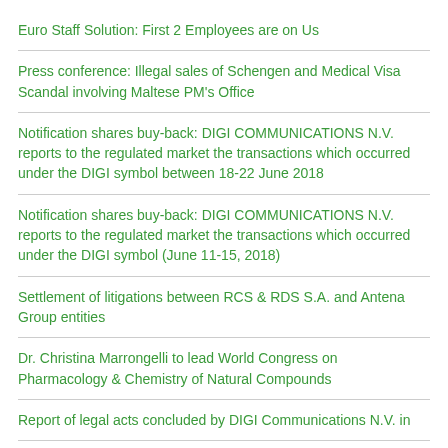Euro Staff Solution: First 2 Employees are on Us
Press conference: Illegal sales of Schengen and Medical Visa Scandal involving Maltese PM's Office
Notification shares buy-back: DIGI COMMUNICATIONS N.V. reports to the regulated market the transactions which occurred under the DIGI symbol between 18-22 June 2018
Notification shares buy-back: DIGI COMMUNICATIONS N.V. reports to the regulated market the transactions which occurred under the DIGI symbol (June 11-15, 2018)
Settlement of litigations between RCS & RDS S.A. and Antena Group entities
Dr. Christina Marrongelli to lead World Congress on Pharmacology & Chemistry of Natural Compounds
Report of legal acts concluded by DIGI Communications N.V. in